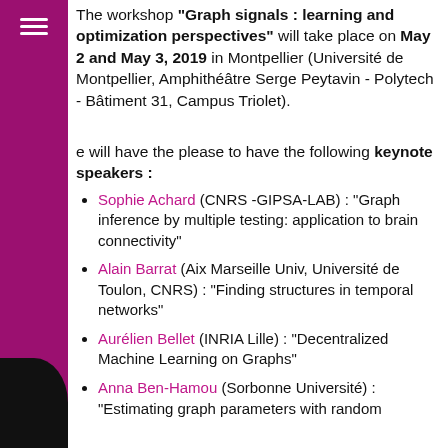The workshop "Graph signals : learning and optimization perspectives" will take place on May 2 and May 3, 2019 in Montpellier (Université de Montpellier, Amphithéâtre Serge Peytavin - Polytech - Bâtiment 31, Campus Triolet).
e will have the please to have the following keynote speakers :
Sophie Achard (CNRS -GIPSA-LAB) : "Graph inference by multiple testing: application to brain connectivity"
Alain Barrat (Aix Marseille Univ, Université de Toulon, CNRS) : "Finding structures in temporal networks"
Aurélien Bellet (INRIA Lille) : "Decentralized Machine Learning on Graphs"
Anna Ben-Hamou (Sorbonne Université) : "Estimating graph parameters with random walks"